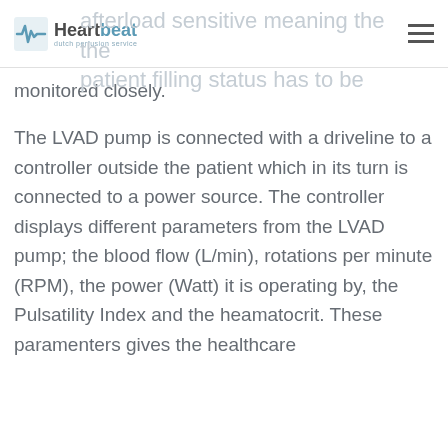Heartbeat dutch perfusion service
afterload sensitive meaning the the patient filling status has to be monitored closely.
The LVAD pump is connected with a driveline to a controller outside the patient which in its turn is connected to a power source. The controller displays different parameters from the LVAD pump; the blood flow (L/min), rotations per minute (RPM), the power (Watt) it is operating by, the Pulsatility Index and the heamatocrit. These paramenters gives the healthcare